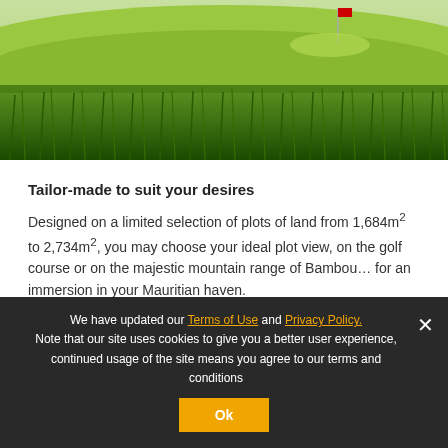[Figure (photo): Golf course photo showing vivid green grass, fairway with a flag pin visible in the background, lush grass blades in the foreground]
Tailor-made to suit your desires
Designed on a limited selection of plots of land from 1,684m² to 2,734m², you may choose your ideal plot view, on the golf course or on the majestic mountain range of Bambou… for an immersion in your Mauritian haven.
We have updated our Terms of Use and Privacy Policy. Note that our site uses cookies to give you a better user experience, continued usage of the site means you agree to our terms and conditions
Ok